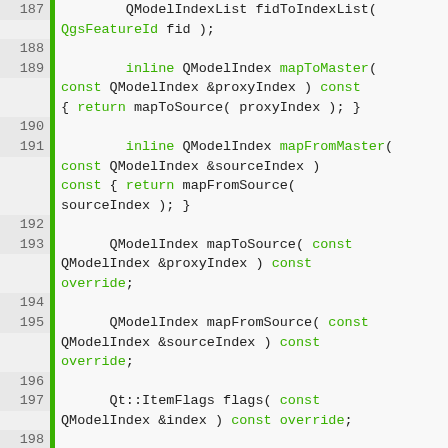[Figure (screenshot): Source code listing in C++ showing class method declarations with line numbers 187-223. Lines with changed/highlighted status shown in green. Methods include fidToIndexList, mapToMaster, mapFromMaster, mapToSource, mapFromSource, flags, sort (two overloads), sortExpression, and mapCanvas.]